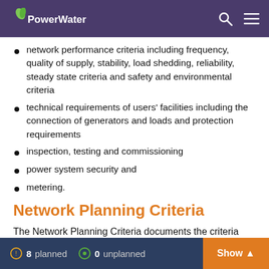PowerWater
network performance criteria including frequency, quality of supply, stability, load shedding, reliability, steady state criteria and safety and environmental criteria
technical requirements of users' facilities including the connection of generators and loads and protection requirements
inspection, testing and commissioning
power system security and
metering.
Network Planning Criteria
The Network Planning Criteria documents the criteria that are applied to ensure that Power and Water's
8 planned   0 unplanned   Show